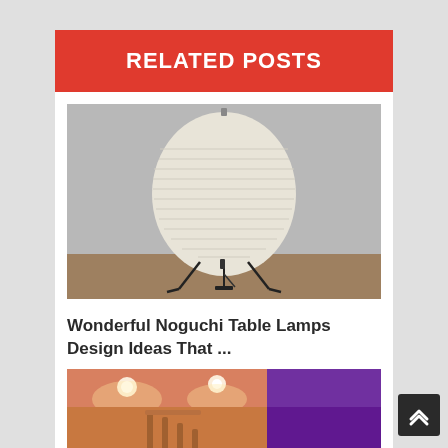RELATED POSTS
[Figure (photo): A Noguchi-style paper lantern table lamp with horizontal ribbing, egg-shaped shade, sitting on thin black metal wire legs on a wooden floor against a gray wall.]
Wonderful Noguchi Table Lamps Design Ideas That ...
[Figure (photo): Interior staircase area with warm ambient recessed lighting on ceiling and wood railings, with a purple/magenta accent wall visible in the background.]